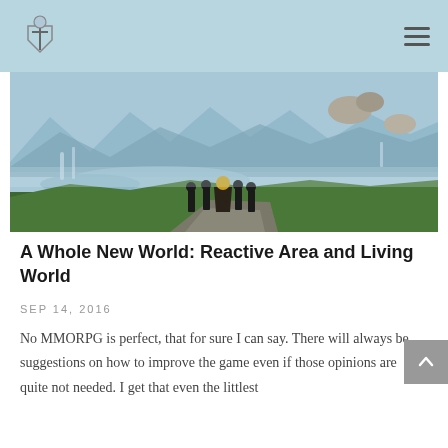Navigation bar with logo and menu icon
[Figure (photo): Fantasy MMORPG scene showing five characters standing on a rocky overlook gazing at a vast landscape with waterfalls, lakes, mountains, and floating rock formations in a misty environment.]
A Whole New World: Reactive Area and Living World
SEP 14, 2016
No MMORPG is perfect, that for sure I can say. There will always be suggestions on how to improve the game even if those opinions are quite not needed. I get that even the littlest